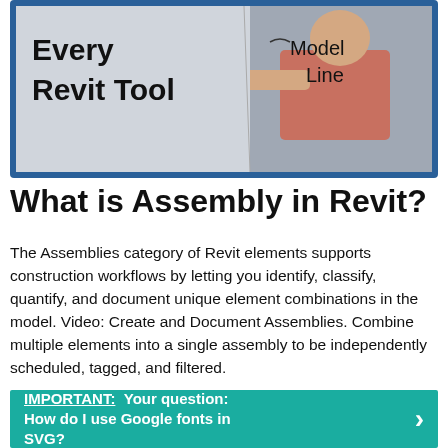[Figure (screenshot): A thumbnail image showing a man pointing at a diagram with text 'Every Revit Tool' on the left and 'Model Line' on the right, framed with a blue border.]
What is Assembly in Revit?
The Assemblies category of Revit elements supports construction workflows by letting you identify, classify, quantify, and document unique element combinations in the model. Video: Create and Document Assemblies. Combine multiple elements into a single assembly to be independently scheduled, tagged, and filtered.
IMPORTANT:  Your question: How do I use Google fonts in SVG?